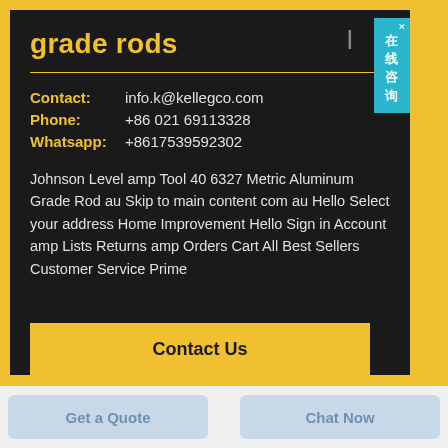grade rods
Contact: info.k@kellegco.com
Phone: +86 021 69113328
Whatsapp: +8617539592302
Johnson Level amp Tool 40 6327 Metric Aluminum Grade Rod au Skip to main content com au Hello Select your address Home Improvement Hello Sign in Account amp Lists Returns amp Orders Cart All Best Sellers Customer Service Prime
Contact Us
Get a Quote
Chat Now